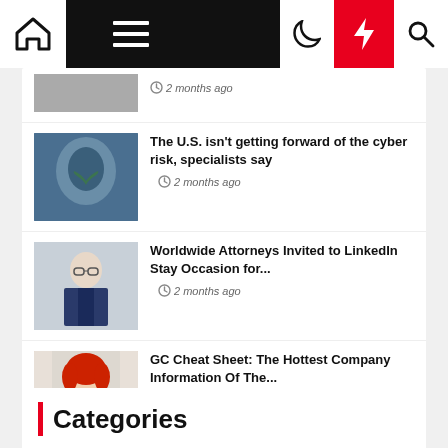Navigation bar with home, menu, moon, lightning, search icons
2 months ago (partial article, image truncated)
The U.S. isn't getting forward of the cyber risk, specialists say – 2 months ago
Worldwide Attorneys Invited to LinkedIn Stay Occasion for... – 2 months ago
GC Cheat Sheet: The Hottest Company Information Of The... – 2 months ago
| Categories